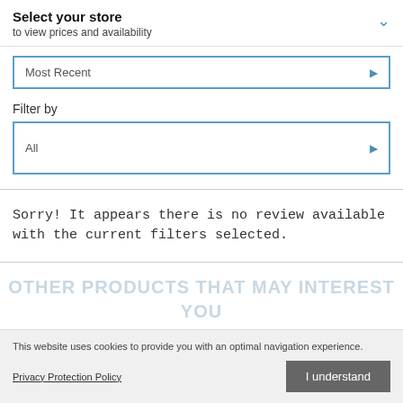Select your store
to view prices and availability
Most Recent
Filter by
All
Sorry! It appears there is no review available with the current filters selected.
OTHER PRODUCTS THAT MAY INTEREST YOU
This website uses cookies to provide you with an optimal navigation experience.
Privacy Protection Policy
I understand